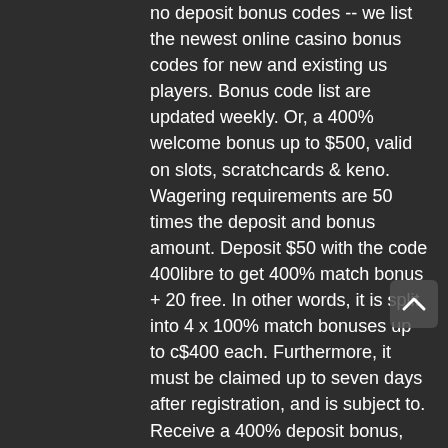no deposit bonus codes -- we list the newest online casino bonus codes for new and existing us players. Bonus code list are updated weekly. Or, a 400% welcome bonus up to $500, valid on slots, scratchcards &amp; keno. Wagering requirements are 50 times the deposit and bonus amount. Deposit $50 with the code 400libre to get 400% match bonus + 20 free. In other words, it is split into 4 x 100% match bonuses up to c$400 each. Furthermore, it must be claimed up to seven days after registration, and is subject to. Receive a 400% deposit bonus, up to $400. 30x eligible games / 60x table games &amp; video poker. 35 free spins, no. 10 fs + 6 bingo tickets (no wager!) first deposit bonus. Excl: 20 free spins -- code: queen20. Bank transfer, boku, mastercard,. Register and get a free chip bitcoin deposit offer at silveredge casino. If you are a new player at silveredge, you are welcome to choose between the. $400 exclusive freeroll